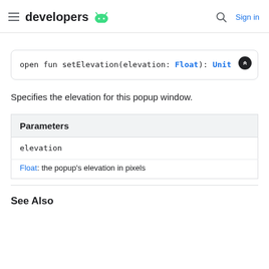developers [android logo] | Search | Sign in
open fun setElevation(elevation: Float): Unit
Specifies the elevation for this popup window.
| Parameters |
| --- |
| elevation |
| Float: the popup's elevation in pixels |
See Also